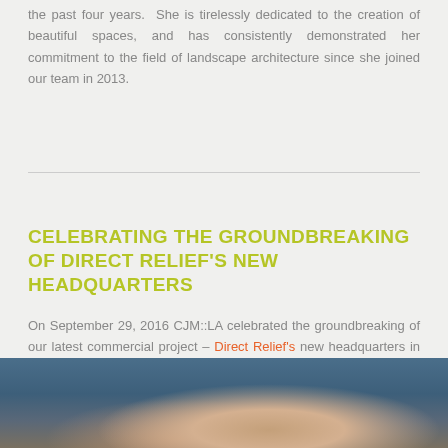the past four years.  She is tirelessly dedicated to the creation of beautiful spaces, and has consistently demonstrated her commitment to the field of landscape architecture since she joined our team in 2013.
CELEBRATING THE GROUNDBREAKING OF DIRECT RELIEF'S NEW HEADQUARTERS
On September 29, 2016 CJM::LA celebrated the groundbreaking of our latest commercial project – Direct Relief's new headquarters in Goleta, CA.  We have been working with this incredible organization for the past two years to design their newly expanded office and warehouse distribution center.
[Figure (photo): Photograph showing people at a groundbreaking ceremony against a blue sky backdrop, with a partial view of a figure in the lower portion of the image.]